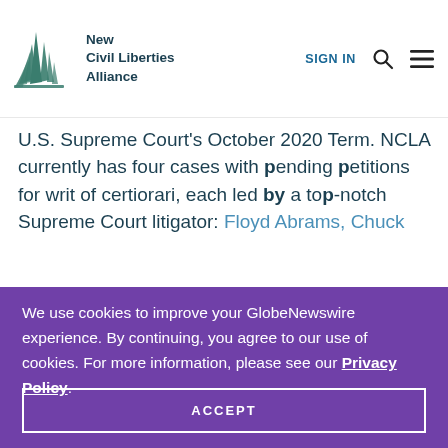New Civil Liberties Alliance | SIGN IN
U.S. Supreme Court's October 2020 Term. NCLA currently has four cases with pending petitions for writ of certiorari, each led by a top-notch Supreme Court litigator: Floyd Abrams, Chuck
We use cookies to improve your GlobeNewswire experience. By continuing, you agree to our use of cookies. For more information, please see our Privacy Policy.
ACCEPT